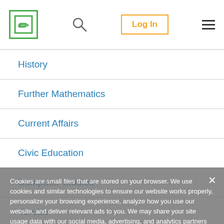Logo | Search | Log In | Menu
History
Further Mathematics
Current Affairs
Civic Education
Computer Studies
Yoruba
Hausa
Igbo
French
Cookies are small files that are stored on your browser. We use cookies and similar technologies to ensure our website works properly, personalize your browsing experience, analyze how you use our website, and deliver relevant ads to you. We may share your site usage data with our social media, advertising, and analytics partners for these reasons. In summary, we use cookies to ensure that we give you the best experience on our website. You can learn more about how we use cookies by visiting our privacy policy page.